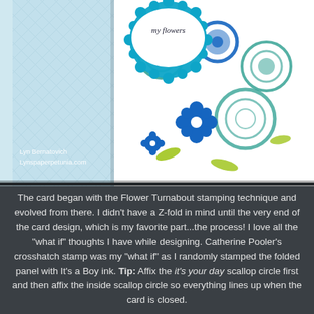[Figure (photo): A handmade Z-fold card featuring Flower Turnabout stamping technique. Left panel shows light blue crosshatch-stamped paper. Right panel shows white card with colorful stamped flowers in blue, teal, and lime green. A blue scallop circle die-cut with text 'my flowers' sits at the top. Photo credit reads Lyn Bernatovich / Lynspaperpetunia.com]
The card began with the Flower Turnabout stamping technique and evolved from there. I didn't have a Z-fold in mind until the very end of the card design, which is my favorite part...the process! I love all the "what if" thoughts I have while designing. Catherine Pooler's crosshatch stamp was my "what if" as I randomly stamped the folded panel with It's a Boy ink. Tip: Affix the it's your day scallop circle first and then affix the inside scallop circle so everything lines up when the card is closed.